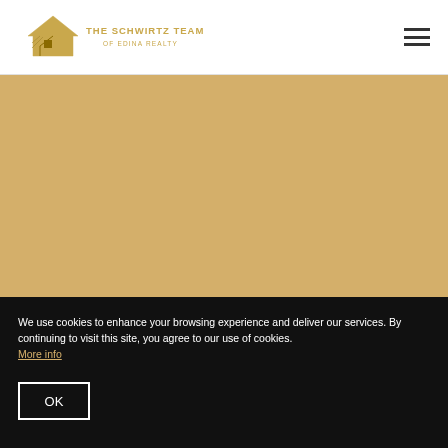The Schwirtz Team of Edina Realty
[Figure (photo): Golden/tan colored hero image area, placeholder background]
We use cookies to enhance your browsing experience and deliver our services. By continuing to visit this site, you agree to our use of cookies. More info
OK